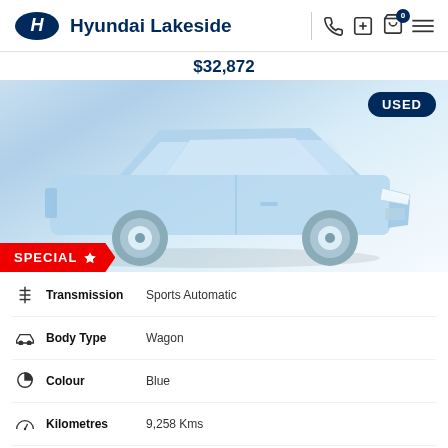Hyundai Lakeside
$32,872
[Figure (photo): Blue Hyundai SUV (Wagon) with a USED badge in top right and SPECIAL badge at bottom left]
| Icon | Attribute | Value |
| --- | --- | --- |
| transmission icon | Transmission | Sports Automatic |
| body type icon | Body Type | Wagon |
| colour icon | Colour | Blue |
| kilometres icon | Kilometres | 9,258 Kms |
| engine icon | Engine | 4 Cyl 2.0 Litres Aspirated |
| fuel type icon | Fuel Type | Petrol - Unleaded ULP |